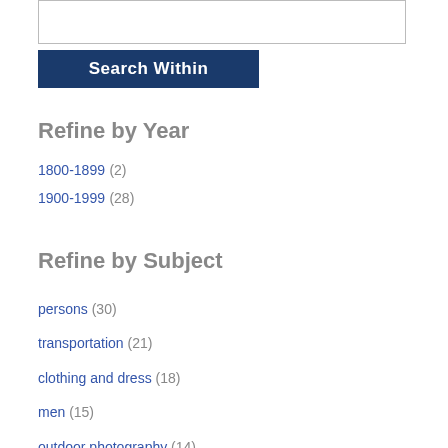[Figure (screenshot): Search box input field]
[Figure (screenshot): Search Within button, dark blue background with white bold text]
Refine by Year
1800-1899 (2)
1900-1999 (28)
Refine by Subject
persons (30)
transportation (21)
clothing and dress (18)
men (15)
outdoor photography (14)
human settlements (13)